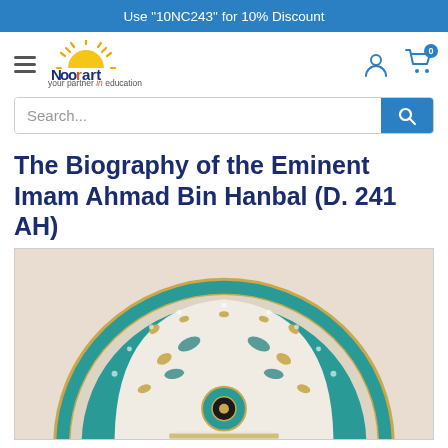Use "10NC243" for 10% Discount
[Figure (logo): Noorart logo - semicircle sun with rays in yellow/orange, text 'Noorart' in dark blue, tagline 'your partner in education']
[Figure (screenshot): Search bar with 'Search...' placeholder text and blue search button with magnifying glass icon]
The Biography of the Eminent Imam Ahmad Bin Hanbal (D. 241 AH)
[Figure (photo): Book cover showing ornate Islamic geometric art with teal/turquoise and gold arabesque patterns forming a dome/arch shape on a light beige background]